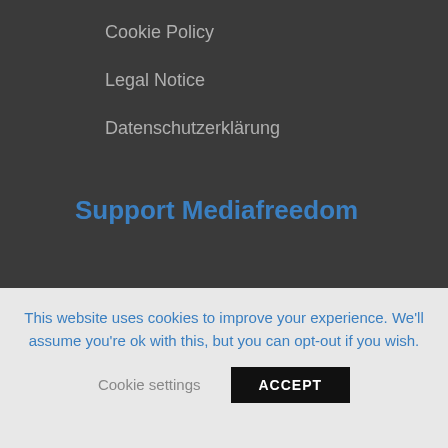Cookie Policy
Legal Notice
Datenschutzerklärung
Support Mediafreedom
[Figure (logo): Creative Commons license icons (CC, BY, NC, ND) followed by 'All content' text]
This website uses cookies to improve your experience. We'll assume you're ok with this, but you can opt-out if you wish.
Cookie settings   ACCEPT